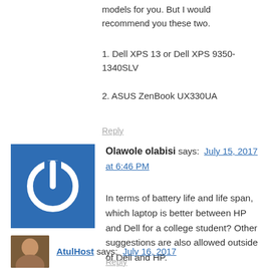models for you. But I would recommend you these two.
1.  Dell XPS 13 or Dell XPS 9350-1340SLV
2.  ASUS ZenBook UX330UA
Reply
Olawole olabisi says: July 15, 2017 at 6:46 PM
In terms of battery life and life span, which laptop is better between HP and Dell for a college student? Other suggestions are also allowed outside of Dell and HP.
Reply
AtulHost says: July 16, 2017